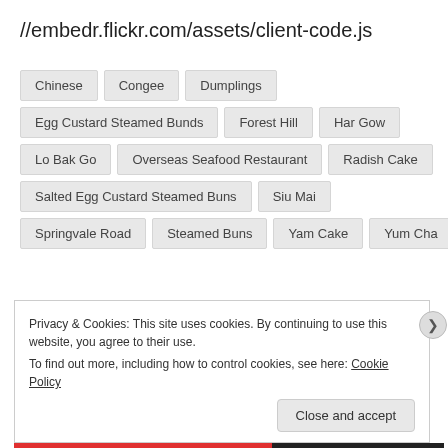//embedr.flickr.com/assets/client-code.js
Chinese
Congee
Dumplings
Egg Custard Steamed Bunds
Forest Hill
Har Gow
Lo Bak Go
Overseas Seafood Restaurant
Radish Cake
Salted Egg Custard Steamed Buns
Siu Mai
Springvale Road
Steamed Buns
Yam Cake
Yum Cha
Privacy & Cookies: This site uses cookies. By continuing to use this website, you agree to their use.
To find out more, including how to control cookies, see here: Cookie Policy